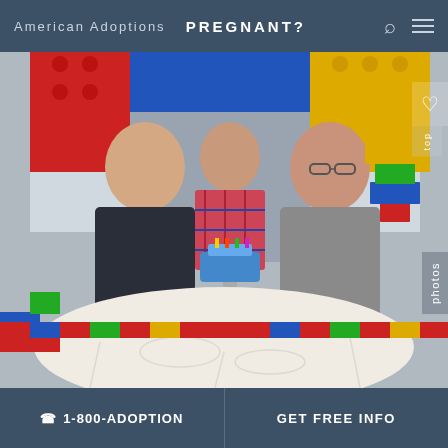American Adoptions   PREGNANT?
[Figure (photo): Two men and a young child posing together at a birthday party with a Lego theme. The child holds a blue birthday cake on a stand. In front of them is a table with a white tablecloth and Lego letter decorations spelling 'OLIVER'. The background features large Lego brick decorations in red, yellow, blue, and green.]
📞 1-800-ADOPTION   GET FREE INFO